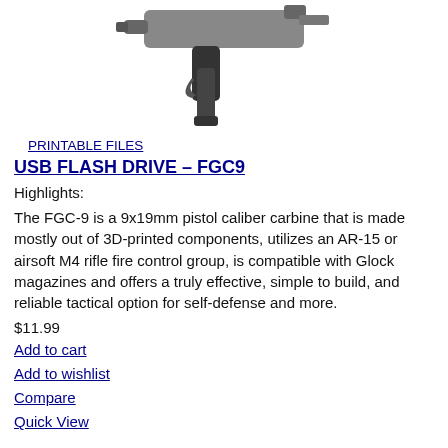[Figure (photo): Partial image of an FGC-9 pistol caliber carbine, showing the lower receiver, grip, and magazine well area against a white background.]
PRINTABLE FILES
USB FLASH DRIVE – FGC9
Highlights:
The FGC-9 is a 9x19mm pistol caliber carbine that is made mostly out of 3D-printed components, utilizes an AR-15 or airsoft M4 rifle fire control group, is compatible with Glock magazines and offers a truly effective, simple to build, and reliable tactical option for self-defense and more.
$11.99
Add to cart
Add to wishlist
Compare
Quick View